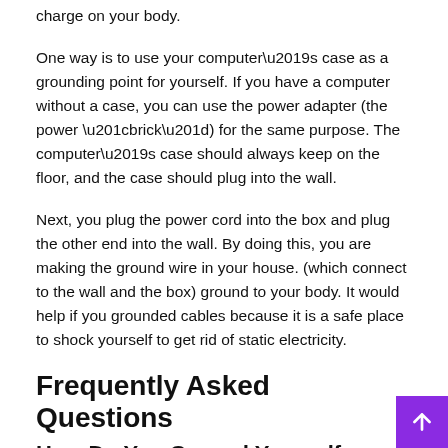charge on your body.
One way is to use your computer’s case as a grounding point for yourself. If you have a computer without a case, you can use the power adapter (the power “brick”) for the same purpose. The computer’s case should always keep on the floor, and the case should plug into the wall.
Next, you plug the power cord into the box and plug the other end into the wall. By doing this, you are making the ground wire in your house. (which connect to the wall and the box) ground to your body. It would help if you grounded cables because it is a safe place to shock yourself to get rid of static electricity.
Frequently Asked Questions
How Do You Ground Yourself